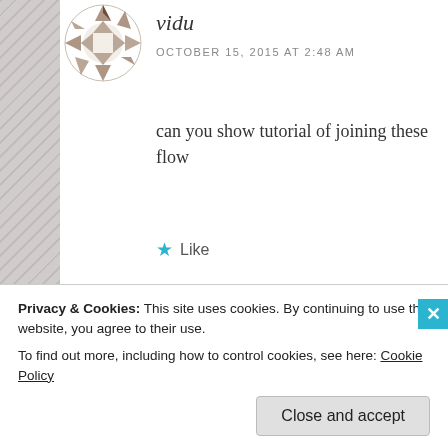vidu
OCTOBER 15, 2015 AT 2:48 AM
can you show tutorial of joining these flow
★ Like
Reply
[Figure (illustration): Avatar icon for user Aki M showing small blue house illustrations with text 'hotpotbook' above]
Aki M
OCTOBER 16, 2015 AT 12:22 PM
You can find the tutorial
Privacy & Cookies: This site uses cookies. By continuing to use this website, you agree to their use.
To find out more, including how to control cookies, see here: Cookie Policy
Close and accept